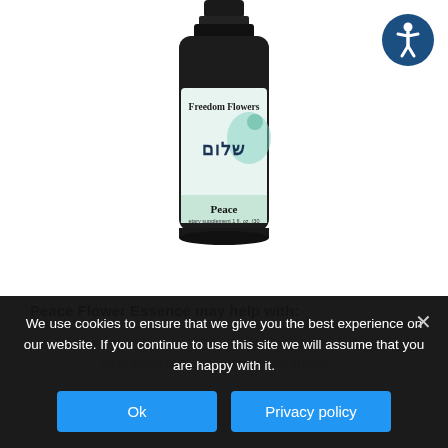[Figure (photo): Dark glass dropper bottle with a white label reading 'Freedom Flowers' with Hebrew text 'שלום' and a peacock illustration, labeled 'Peace' at the bottom, dietary supplement 1 fl. oz.]
[Figure (logo): Blue circular accessibility icon showing a person figure]
Peace Flower Essence may help with:
Releasing bitterness and resentment
We use cookies to ensure that we give you the best experience on our website. If you continue to use this site we will assume that you are happy with it.